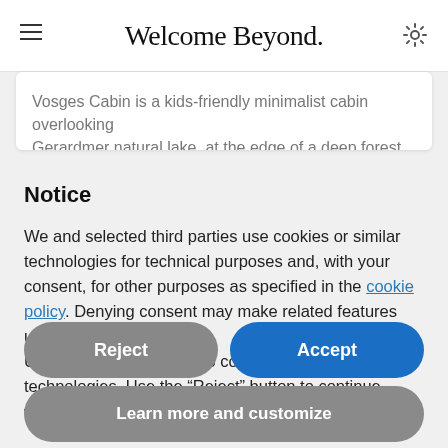Welcome Beyond.
Vosges Cabin is a kids-friendly minimalist cabin overlooking Gerardmer natural lake, at the edge of a deep forest. It uses
Notice
We and selected third parties use cookies or similar technologies for technical purposes and, with your consent, for other purposes as specified in the cookie policy. Denying consent may make related features unavailable.
Use the “Accept” button to consent to the use of such technologies. Use the “Reject” button to continue without accepting.
Reject
Accept
Learn more and customize